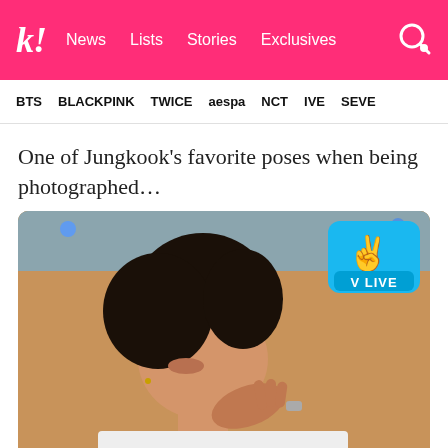k! News Lists Stories Exclusives
BTS BLACKPINK TWICE aespa NCT IVE SEVE
One of Jungkook’s favorite poses when being photographed…
[Figure (screenshot): Screenshot from a V LIVE broadcast showing a young man (Jungkook) with dark hair, wearing a white top, resting his face near his hand. The V LIVE logo (neon blue hand doing a peace/V sign above text 'V LIVE') is visible in the top right corner. The background shows a couch and blurred room interior.]